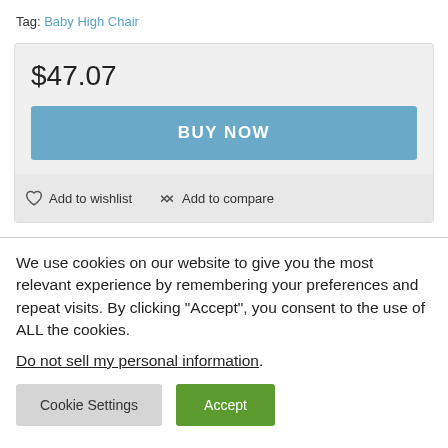Tag: Baby High Chair
$47.07
BUY NOW
Add to wishlist   Add to compare
We use cookies on our website to give you the most relevant experience by remembering your preferences and repeat visits. By clicking “Accept”, you consent to the use of ALL the cookies.
Do not sell my personal information.
Cookie Settings   Accept